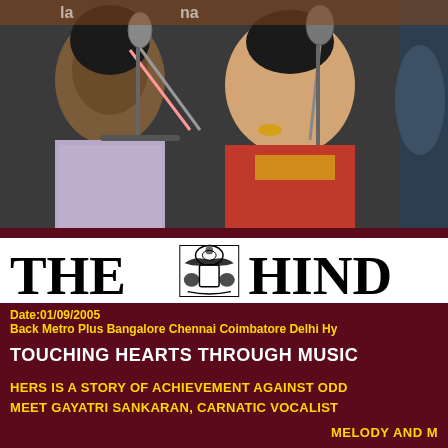[Figure (photo): Two women singing at microphones — one in a floral grey outfit on the left, one in a red and gold saree on the right. A third person partially visible at far right. Background shows a banner partially visible at top.]
[Figure (logo): The Hindu newspaper masthead — 'THE HINDU' in large bold serif font with an ornate emblem/crest in the middle featuring animals and decorative elements.]
Date:01/09/2005
Back Metro Plus Bangalore Chennai Coimbatore Delhi Hy
TOUCHING HEARTS THROUGH MUSIC
HERS IS A STORY OF ACHIEVEMENT AGAINST ODD
MEET GAYATRI SANKARAN, CARNATIC VOCALIST
MELODY AND M